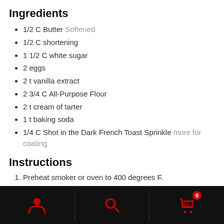Ingredients
1/2 C Butter Softened
1/2 C shortening
1 1/2 C white sugar
2 eggs
2 t vanilla extract
2 3/4 C All-Purpose Flour
2 t cream of tarter
1 t baking soda
1/4 C Shot in the Dark French Toast Sprinkle more for coating
Instructions
Preheat smoker or oven to 400 degrees F.
Cream together butter, shortening, 1 1/2 cups sugar, the eggs and the vanilla. Blend in the flour, cream of tartar, soda and French Toast Sprinkler. Shape dough
Navigation bar with user, search, and cart icons